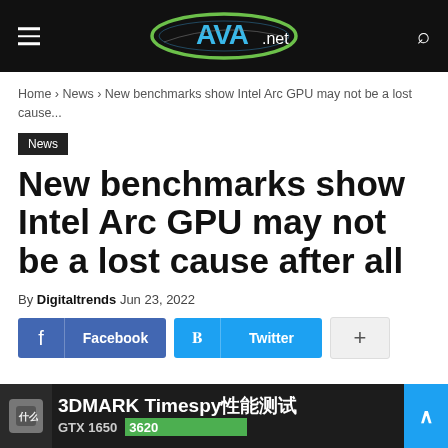AVA.net — site header with hamburger menu, logo, and search icon
Home › News › New benchmarks show Intel Arc GPU may not be a lost cause...
News
New benchmarks show Intel Arc GPU may not be a lost cause after all
By Digitaltrends Jun 23, 2022
Facebook  Twitter  +
[Figure (screenshot): Bottom banner showing 3DMARK Timespy benchmark bar chart with GTX 1650 label and green bar with value 3620]